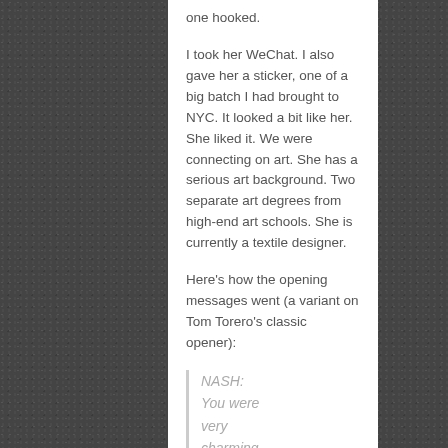one hooked.
I took her WeChat. I also gave her a sticker, one of a big batch I had brought to NYC. It looked a bit like her. She liked it. We were connecting on art. She has a serious art background. Two separate art degrees from high-end art schools. She is currently a textile designer.
Here's how the opening messages went (a variant on Tom Torero's classic opener):
NASH:
You were very charming